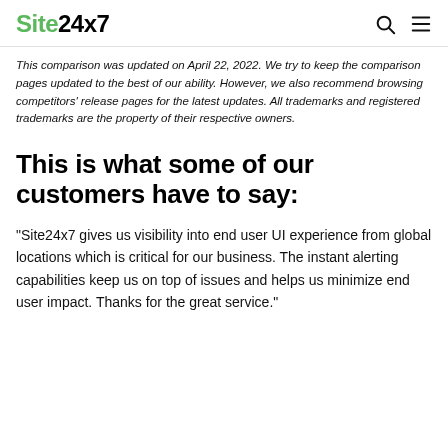Site24x7
This comparison was updated on April 22, 2022. We try to keep the comparison pages updated to the best of our ability. However, we also recommend browsing competitors' release pages for the latest updates. All trademarks and registered trademarks are the property of their respective owners.
This is what some of our customers have to say:
“Site24x7 gives us visibility into end user UI experience from global locations which is critical for our business. The instant alerting capabilities keep us on top of issues and helps us minimize end user impact. Thanks for the great service.”